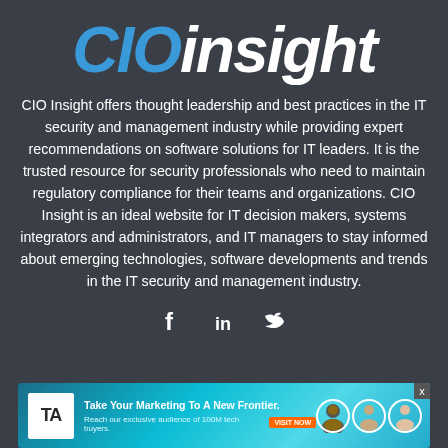[Figure (logo): CIO Insight logo — 'CIO' in bold italic blue and 'insight' in bold italic white]
CIO Insight offers thought leadership and best practices in the IT security and management industry while providing expert recommendations on software solutions for IT leaders. It is the trusted resource for security professionals who need to maintain regulatory compliance for their teams and organizations. CIO Insight is an ideal website for IT decision makers, systems integrators and administrators, and IT managers to stay informed about emerging technologies, software developments and trends in the IT security and management industry.
[Figure (infographic): Social media icons: Facebook (f), LinkedIn (in), Twitter (bird)]
[Figure (infographic): Advertisement banner: TA logo, 'Take Your Marketing To A New Frontier. Reach our exclusive audience of 100M tech buyers.' with CTA button and three person photos]